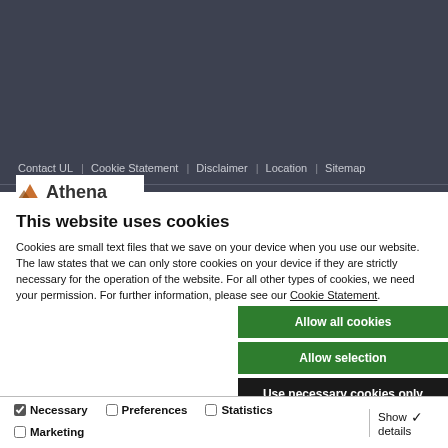Contact UL | Cookie Statement | Disclaimer | Location | Sitemap
[Figure (logo): Athena logo with mountain icon and text 'Athena']
This website uses cookies
Cookies are small text files that we save on your device when you use our website. The law states that we can only store cookies on your device if they are strictly necessary for the operation of the website. For all other types of cookies, we need your permission. For further information, please see our Cookie Statement.
Allow all cookies
Allow selection
Use necessary cookies only
Necessary  Preferences  Statistics  Marketing  Show details